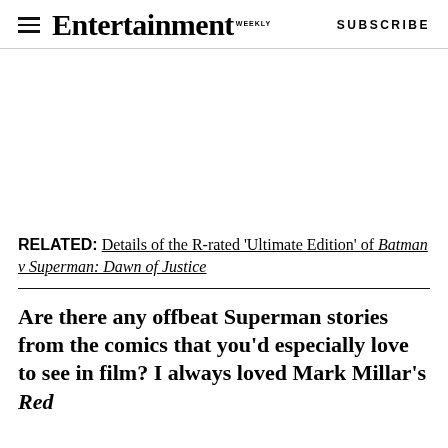Entertainment Weekly — SUBSCRIBE
RELATED: Details of the R-rated 'Ultimate Edition' of Batman v Superman: Dawn of Justice
Are there any offbeat Superman stories from the comics that you'd especially love to see in film? I always loved Mark Millar's Red